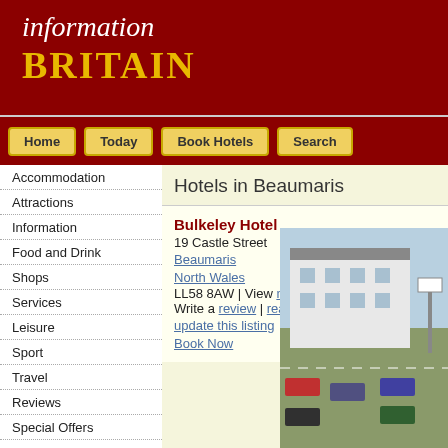information BRITAIN
Home
Today
Book Hotels
Search
Accommodation
Attractions
Information
Food and Drink
Shops
Services
Leisure
Sport
Travel
Reviews
Special Offers
Contact Us
Hotels in Beaumaris
Bulkeley Hotel
19 Castle Street
Beaumaris
North Wales
LL58 8AW | View map
Write a review | read reviews
update this listing
Book Now
[Figure (photo): Exterior photo of the Bulkeley Hotel in Beaumaris, showing white building with car park]